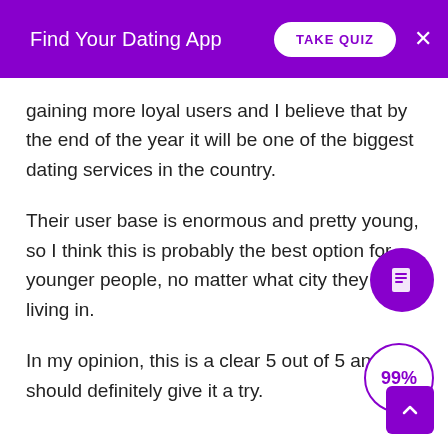Find Your Dating App | TAKE QUIZ
gaining more loyal users and I believe that by the end of the year it will be one of the biggest dating services in the country.
Their user base is enormous and pretty young, so I think this is probably the best option for younger people, no matter what city they are living in.
In my opinion, this is a clear 5 out of 5 and you should definitely give it a try.
[Figure (infographic): Purple circle with document/list icon (floating action button)]
[Figure (infographic): Circle with '99%' text in purple outline]
[Figure (infographic): Purple square button with upward chevron arrow (back to top)]